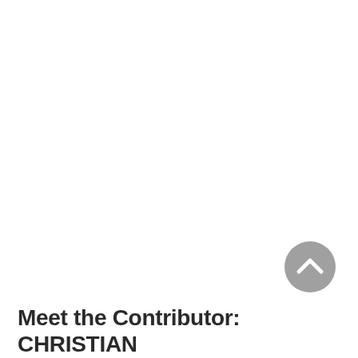[Figure (other): A circular grey button with an upward-pointing chevron/arrow icon, used as a scroll-to-top navigation element.]
Meet the Contributor: CHRISTIAN